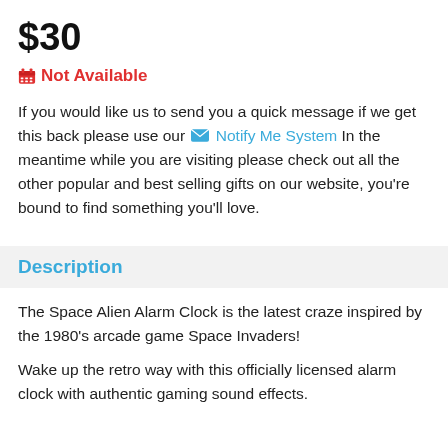$30
🗓 Not Available
If you would like us to send you a quick message if we get this back please use our ✉ Notify Me System In the meantime while you are visiting please check out all the other popular and best selling gifts on our website, you're bound to find something you'll love.
Description
The Space Alien Alarm Clock is the latest craze inspired by the 1980's arcade game Space Invaders!
Wake up the retro way with this officially licensed alarm clock with authentic gaming sound effects.